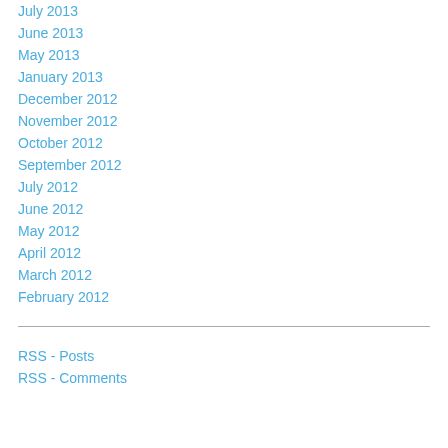July 2013
June 2013
May 2013
January 2013
December 2012
November 2012
October 2012
September 2012
July 2012
June 2012
May 2012
April 2012
March 2012
February 2012
RSS - Posts
RSS - Comments